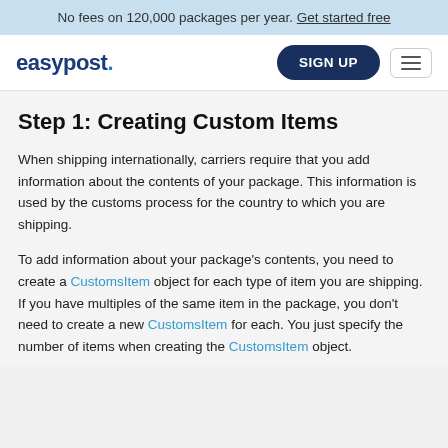No fees on 120,000 packages per year. Get started free
[Figure (logo): EasyPost logo with SIGN UP button and hamburger menu]
Step 1: Creating Custom Items
When shipping internationally, carriers require that you add information about the contents of your package. This information is used by the customs process for the country to which you are shipping.
To add information about your package's contents, you need to create a CustomsItem object for each type of item you are shipping. If you have multiples of the same item in the package, you don't need to create a new CustomsItem for each. You just specify the number of items when creating the CustomsItem object.